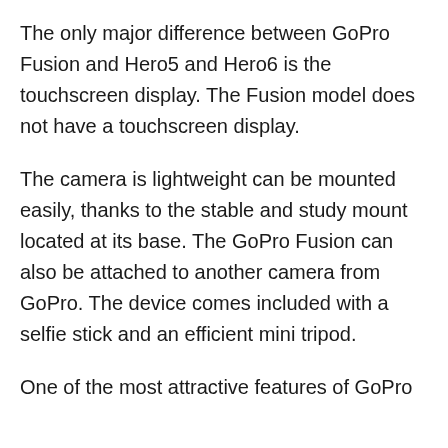The only major difference between GoPro Fusion and Hero5 and Hero6 is the touchscreen display. The Fusion model does not have a touchscreen display.
The camera is lightweight can be mounted easily, thanks to the stable and study mount located at its base. The GoPro Fusion can also be attached to another camera from GoPro. The device comes included with a selfie stick and an efficient mini tripod.
One of the most attractive features of GoPro